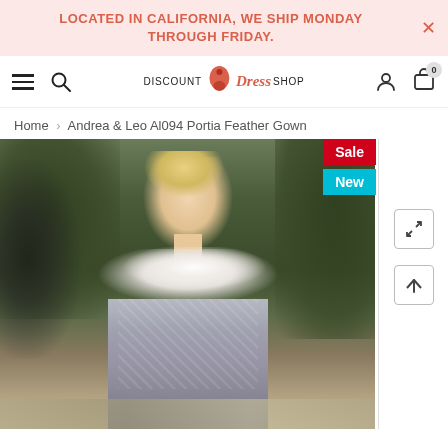LOCATED IN CALIFORNIA, WE SHIP MONDAY THROUGH FRIDAY.
[Figure (screenshot): Website navigation bar with hamburger menu, search icon, Discount Dress Shop logo, user account icon, and cart icon showing 0 items.]
Home > Andrea & Leo Al094 Portia Feather Gown
[Figure (photo): A blonde female model wearing a heavily beaded and embellished silver/grey gown with a deep V-neckline adorned with white feather trim. She is standing in front of a green foliage backdrop with wrought iron architectural detail. Sale and New badges visible in top right corner.]